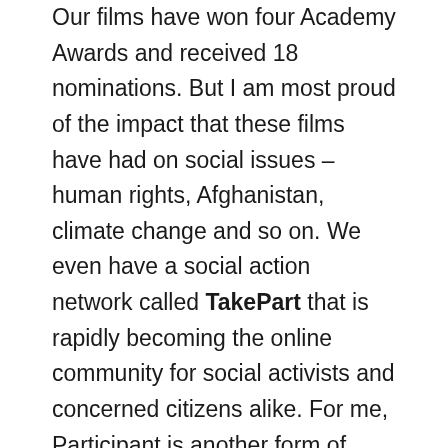Our films have won four Academy Awards and received 18 nominations. But I am most proud of the impact that these films have had on social issues – human rights, Afghanistan, climate change and so on. We even have a social action network called TakePart that is rapidly becoming the online community for social activists and concerned citizens alike. For me, Participant is another form of philanthropy, as I believe that good stories well told can inspire and compel social change.

In 2009, I started a new foundation, called the Skoll Global Threats Fund, to deal with urgent